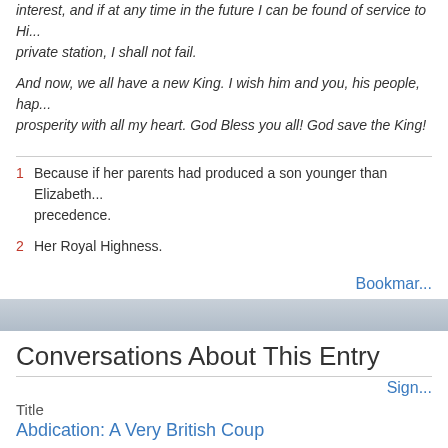interest, and if at any time in the future I can be found of service to Hi... private station, I shall not fail.
And now, we all have a new King. I wish him and you, his people, hap... prosperity with all my heart. God Bless you all! God save the King!
1 Because if her parents had produced a son younger than Elizabeth... precedence.
2 Her Royal Highness.
Bookmark
Conversations About This Entry
Sign
Title
Abdication: A Very British Coup
Catholics
De Valera and Ireland